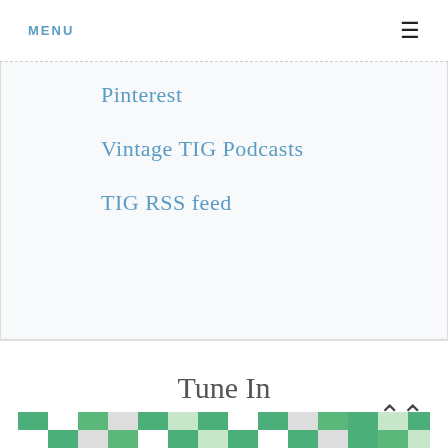MENU ≡
Pinterest
Vintage TIG Podcasts
TIG RSS feed
Tune In
[Figure (photo): Colorful patchwork or mosaic image strip with green, white, and gray squares visible at the bottom of the page]